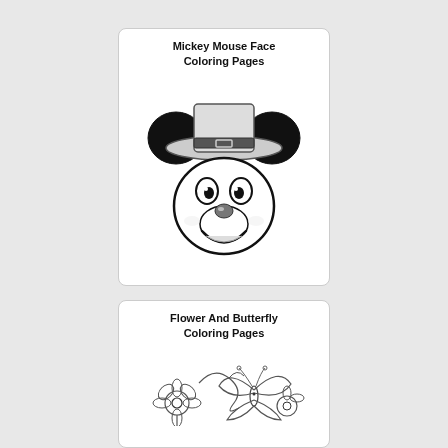[Figure (illustration): Card with title 'Mickey Mouse Face Coloring Pages' and a black and white illustration of Mickey Mouse wearing a pilgrim hat]
Mickey Mouse Face Coloring Pages
[Figure (illustration): Card with title 'Flower And Butterfly Coloring Pages' and a partial outline illustration of flowers and a butterfly]
Flower And Butterfly Coloring Pages